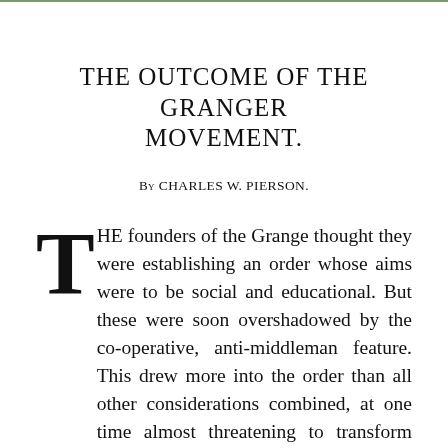THE OUTCOME OF THE GRANGER MOVEMENT.
By CHARLES W. PIERSON.
THE founders of the Grange thought they were establishing an order whose aims were to be social and educational. But these were soon overshadowed by the co-operative, anti-middleman feature. This drew more into the order than all other considerations combined, at one time almost threatening to transform our farming population into a race of traders, and this was likewise the chief cause of Grange decay. Fighting middlemen, unlike fighting railroads, was a legitimate kind of activity, as it had